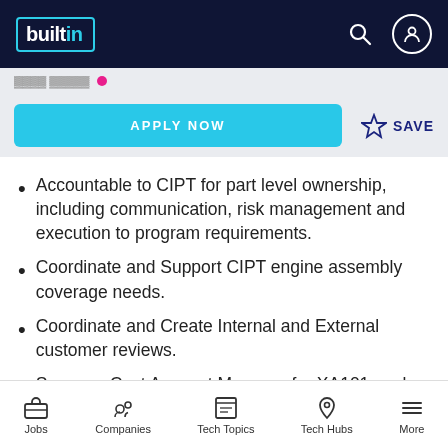builtin
APPLY NOW   ☆ SAVE
Accountable to CIPT for part level ownership, including communication, risk management and execution to program requirements.
Coordinate and Support CIPT engine assembly coverage needs.
Coordinate and Create Internal and External customer reviews.
Serve as Cost Account Manager for XA101 work packages for CSE HPC.
Jobs   Companies   Tech Topics   Tech Hubs   More